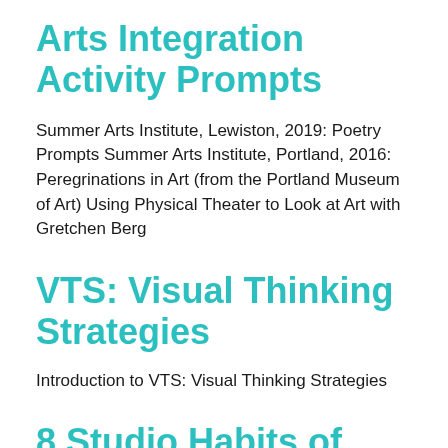Arts Integration Activity Prompts
Summer Arts Institute, Lewiston, 2019: Poetry Prompts Summer Arts Institute, Portland, 2016: Peregrinations in Art (from the Portland Museum of Art) Using Physical Theater to Look at Art with Gretchen Berg
VTS: Visual Thinking Strategies
Introduction to VTS: Visual Thinking Strategies
8 Studio Habits of Mind